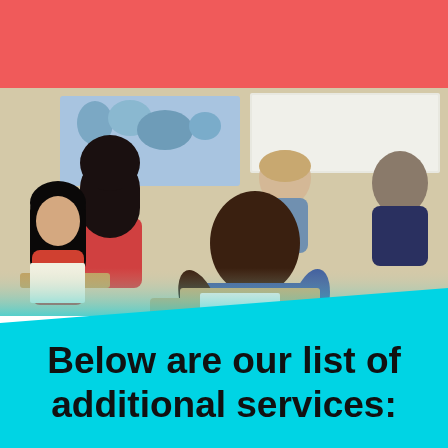[Figure (photo): Red banner/header bar at the top of the page in coral/salmon red color]
[Figure (photo): Classroom photo showing diverse students sitting at desks writing/studying. A Black male student in a plaid shirt is prominent in the foreground, with other students (including an Asian female student in red) visible behind him. A world map and whiteboard are visible in the background.]
Below are our list of additional services: